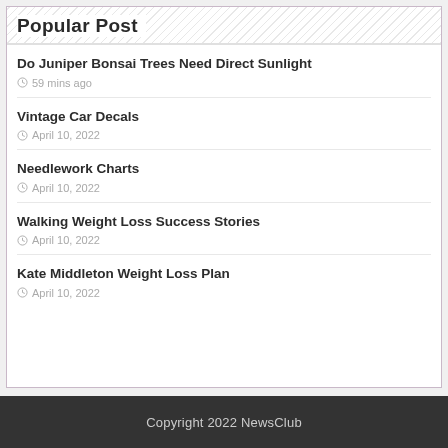Popular Post
Do Juniper Bonsai Trees Need Direct Sunlight
59 mins ago
Vintage Car Decals
April 10, 2022
Needlework Charts
April 10, 2022
Walking Weight Loss Success Stories
April 10, 2022
Kate Middleton Weight Loss Plan
April 10, 2022
Copyright 2022 NewsClub